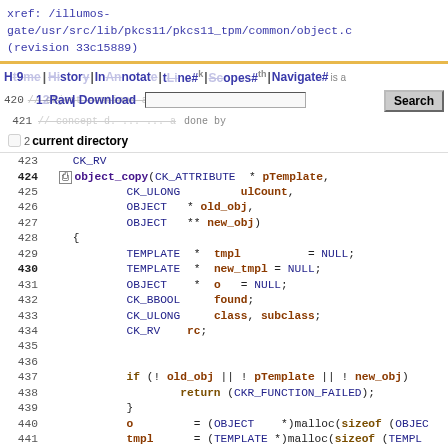xref: /illumos-gate/usr/src/lib/pkcs11/pkcs11_tpm/common/object.c (revision 33c15889)
[Figure (screenshot): Navigation bar with Home, History, Annotate, Line#, Scopes#, Navigate# links and Raw, Download links with Search bar and current directory checkbox]
Code listing lines 420-444 of object.c showing object_copy function definition with variable declarations and initial if check
423    CK_RV
424    object_copy(CK_ATTRIBUTE * pTemplate,
425               CK_ULONG         ulCount,
426               OBJECT  * old_obj,
427               OBJECT  ** new_obj)
428    {
429               TEMPLATE  *  tmpl           = NULL;
430               TEMPLATE  *  new_tmpl = NULL;
431               OBJECT    *  o   = NULL;
432               CK_BBOOL     found;
433               CK_ULONG     class, subclass;
434               CK_RV    rc;
435
436
437               if (! old_obj || ! pTemplate || ! new_obj)
438                        return (CKR_FUNCTION_FAILED);
439               }
440               o         = (OBJECT   *)malloc(sizeof (OBJEC
441               tmpl      = (TEMPLATE *)malloc(sizeof (TEMPL
442               new_tmpl = (TEMPLATE *)malloc(sizeof (TEMP
443
444               if (o == 0 || tmpl || ! new_tmpl) {